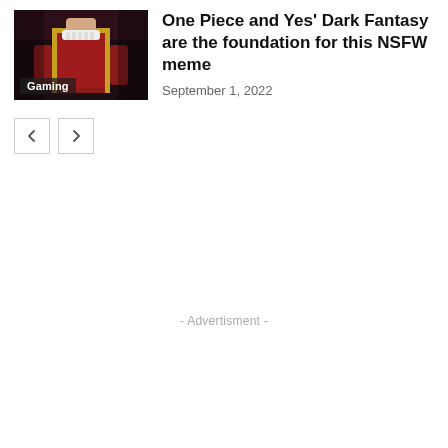[Figure (photo): Thumbnail image of an anime character from One Piece in a red and gold outfit, with a 'Gaming' category badge overlaid at the bottom left]
One Piece and Yes' Dark Fantasy are the foundation for this NSFW meme
September 1, 2022
- Advertisment -